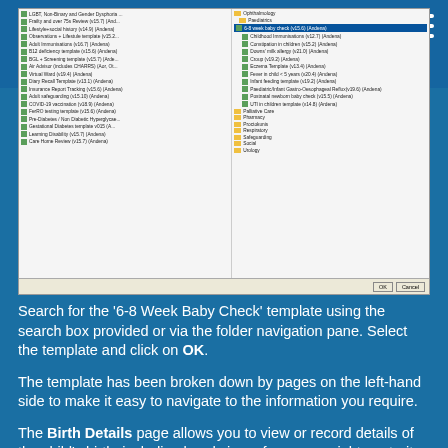[Figure (screenshot): Screenshot of a template selection dialog window showing a list of medical templates on the left (including LGBT, Frailty, Lifestyle, Observations, Adult Immunisations, B12 deficiency, BGL, Air Advisor, Virtual Ward, Diary Recall, Insurance Report, Adult Safeguarding, COVID-19, FerRO, Pre-Diabetes, Gestational Diabetes, Learning Disability, Care Home Review) and a folder tree on the right showing Ophthalmology and Paediatrics categories with the '6-8 week baby check (v15.6) Andena' item highlighted in blue, plus other paediatric templates visible. OK and Cancel buttons at the bottom.]
Search for the '6-8 Week Baby Check' template using the search box provided or via the folder navigation pane. Select the template and click on OK.
The template has been broken down by pages on the left-hand side to make it easy to navigate to the information you require.
The Birth Details page allows you to view or record details of the child's birth, including head circumference, weight, maturity and delivery type.